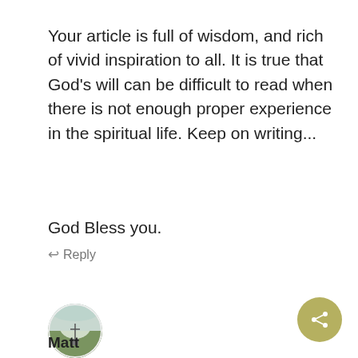Your article is full of wisdom, and rich of vivid inspiration to all. It is true that God's will can be difficult to read when there is not enough proper experience in the spiritual life. Keep on writing...
God Bless you.
↩ Reply
[Figure (photo): Circular avatar photo showing a person or landscape in a round frame]
Matt